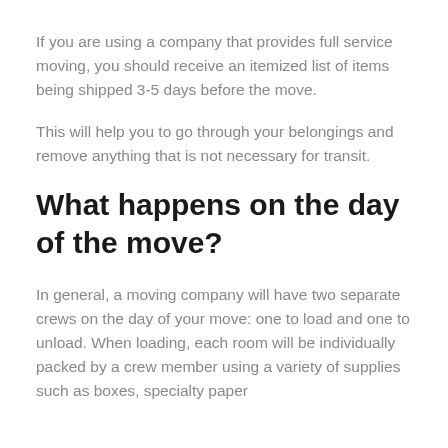If you are using a company that provides full service moving, you should receive an itemized list of items being shipped 3-5 days before the move.
This will help you to go through your belongings and remove anything that is not necessary for transit.
What happens on the day of the move?
In general, a moving company will have two separate crews on the day of your move: one to load and one to unload. When loading, each room will be individually packed by a crew member using a variety of supplies such as boxes, specialty paper